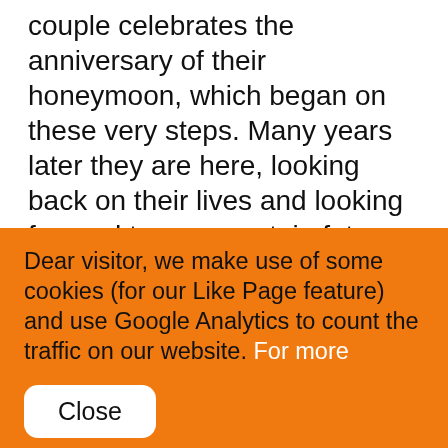couple celebrates the anniversary of their honeymoon, which began on these very steps. Many years later they are here, looking back on their lives and looking forward to an uncertain future.
Kylian’s choreography is characterized by unexpected movements and gestures that
Dear visitor, we make use of some cookies (for our Like Page feature) and use Google Analytics to count the traffic on our website. For more information please take a look at our cookie policy.
Close